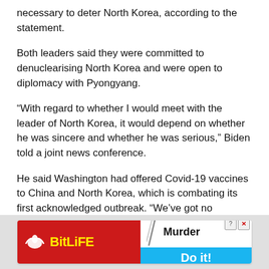necessary to deter North Korea, according to the statement.
Both leaders said they were committed to denuclearising North Korea and were open to diplomacy with Pyongyang.
“With regard to whether I would meet with the leader of North Korea, it would depend on whether he was sincere and whether he was serious,” Biden told a joint news conference.
He said Washington had offered Covid-19 vaccines to China and North Korea, which is combating its first acknowledged outbreak. “We’ve got no response,” Biden said.
[Figure (other): Advertisement banner for BitLife mobile game showing Murder Do it! promotional content]